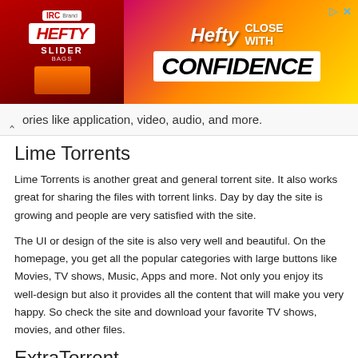[Figure (photo): Hefty Slider Bags advertisement banner with pink/yellow gradient background, Hefty logo on left side, and 'CLOSE WITH CONFIDENCE' text on right]
ories like application, video, audio, and more.
Lime Torrents
Lime Torrents is another great and general torrent site. It also works great for sharing the files with torrent links. Day by day the site is growing and people are very satisfied with the site.
The UI or design of the site is also very well and beautiful. On the homepage, you get all the popular categories with large buttons like Movies, TV shows, Music, Apps and more. Not only you enjoy its well-design but also it provides all the content that will make you very happy. So check the site and download your favorite TV shows, movies, and other files.
ExtraTorrent